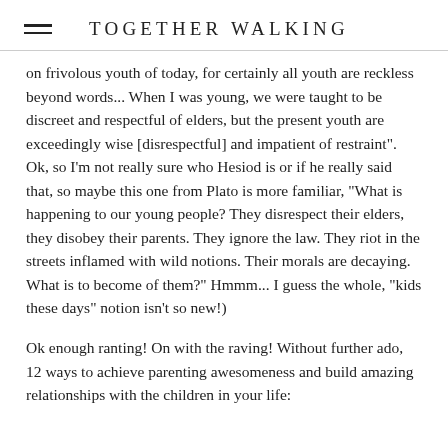TOGETHER WALKING
on frivolous youth of today, for certainly all youth are reckless beyond words... When I was young, we were taught to be discreet and respectful of elders, but the present youth are exceedingly wise [disrespectful] and impatient of restraint".  Ok, so I'm not really sure who Hesiod is or if he really said that, so maybe this one from Plato is more familiar, "What is happening to our young people? They disrespect their elders, they disobey their parents. They ignore the law. They riot in the streets inflamed with wild notions. Their morals are decaying. What is to become of them?" Hmmm... I guess the whole, "kids these days" notion isn't so new!)
Ok enough ranting! On with the raving! Without further ado, 12 ways to achieve parenting awesomeness and build amazing relationships with the children in your life: